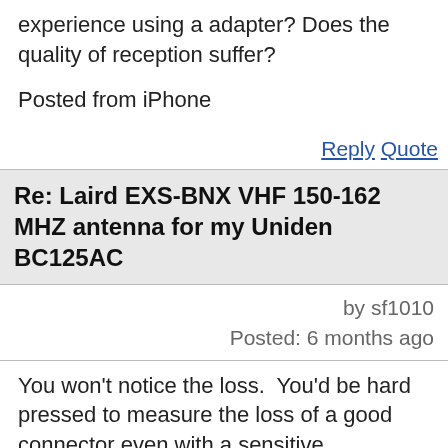experience using a adapter? Does the quality of reception suffer?
Posted from iPhone
Reply  Quote
Re: Laird EXS-BNX VHF 150-162 MHZ antenna for my Uniden BC125AC
by sf1010
Posted: 6 months ago
You won't notice the loss.  You'd be hard pressed to measure the loss of a good connector even with a sensitive instrument.
Do try to find a good adapter and/or cable -- maybe Palormar, Pasternack, or one of the reputable ham radio dealers like Ham Radio Outlet, DX Engineering, Giga Parts...  I'm sure there are other good sources, but avoid $1.99 on